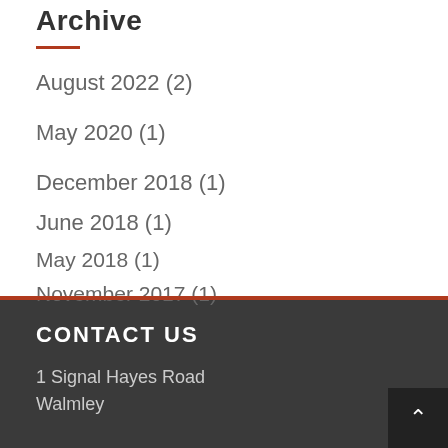Archive
August 2022 (2)
May 2020 (1)
December 2018 (1)
June 2018 (1)
May 2018 (1)
November 2017 (1)
CONTACT US
1 Signal Hayes Road
Walmley